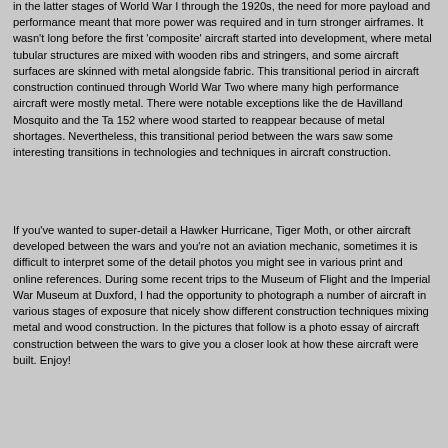in the latter stages of World War I through the 1920s, the need for more payload and performance meant that more power was required and in turn stronger airframes. It wasn't long before the first 'composite' aircraft started into development, where metal tubular structures are mixed with wooden ribs and stringers, and some aircraft surfaces are skinned with metal alongside fabric. This transitional period in aircraft construction continued through World War Two where many high performance aircraft were mostly metal. There were notable exceptions like the de Havilland Mosquito and the Ta 152 where wood started to reappear because of metal shortages. Nevertheless, this transitional period between the wars saw some interesting transitions in technologies and techniques in aircraft construction.
If you've wanted to super-detail a Hawker Hurricane, Tiger Moth, or other aircraft developed between the wars and you're not an aviation mechanic, sometimes it is difficult to interpret some of the detail photos you might see in various print and online references. During some recent trips to the Museum of Flight and the Imperial War Museum at Duxford, I had the opportunity to photograph a number of aircraft in various stages of exposure that nicely show different construction techniques mixing metal and wood construction. In the pictures that follow is a photo essay of aircraft construction between the wars to give you a closer look at how these aircraft were built. Enjoy!